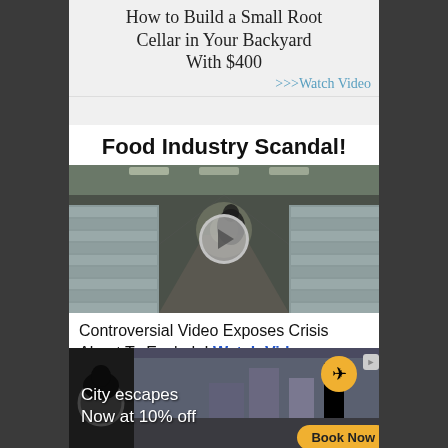How to Build a Small Root Cellar in Your Backyard With $400
>>>Watch Video
Food Industry Scandal!
[Figure (screenshot): Warehouse filled with stacked pallets of bottled water, viewed from a first-person perspective walking down a corridor between tall stacks, with a large industrial warehouse space visible overhead. A circular play button overlay indicates this is a video thumbnail.]
Controversial Video Exposes Crisis About To Explode! Watch Video>>
[Figure (screenshot): Advertisement banner showing a city bus interior view with text 'City escapes Now at 10% off' and a 'Book Now' button, plus ad control icons and a plane icon.]